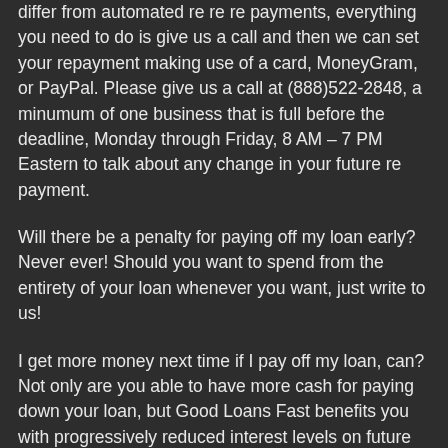differ from automated re re re payments, everything you need to do is give us a call and then we can set your repayment making use of a card, MoneyGram, or PayPal. Please give us a call at (888)522-2848, a minumum of one business that is full before the deadline, Monday through Friday, 8 AM – 7 PM Eastern to talk about any change in your future re payment.
Will there be a penalty for paying off my loan early? Never ever! Should you want to spend from the entirety of your loan whenever you want, just write to us!
I get more money next time if I pay off my loan, can? Not only are you able to have more cash for paying down your loan, but Good Loans Fast benefits you with progressively reduced interest levels on future loans too! Reactivating your loan is without headaches.
I just paid down my loan! Whenever can another one is got by me? So long as your final repayment has cleared in our bodies, you could get the next loan when you need it! Just remember, Good Loans Fast is here now for you